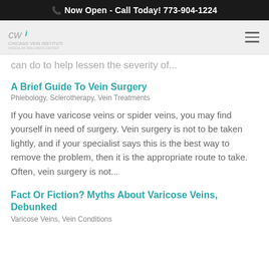Now Open - Call Today! 773-904-1224
[Figure (logo): Chicago Vein Institute logo (CWI) in grey on light grey nav bar with hamburger menu icon]
can do to help lessen the severity of...
A Brief Guide To Vein Surgery
Phlebology, Sclerotherapy, Vein Treatments
If you have varicose veins or spider veins, you may find yourself in need of surgery. Vein surgery is not to be taken lightly, and if your specialist says this is the best way to remove the problem, then it is the appropriate route to take. Often, vein surgery is not...
Fact Or Fiction? Myths About Varicose Veins, Debunked
Varicose Veins, Vein Conditions